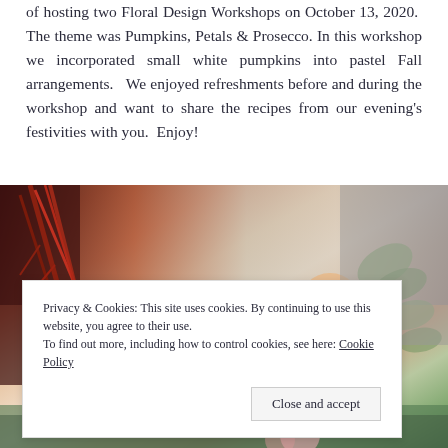of hosting two Floral Design Workshops on October 13, 2020. The theme was Pumpkins, Petals & Prosecco. In this workshop we incorporated small white pumpkins into pastel Fall arrangements. We enjoyed refreshments before and during the workshop and want to share the recipes from our evening's festivities with you. Enjoy!
[Figure (photo): A person holding a floral arrangement featuring a white pumpkin, pink and peach roses, red branches, and eucalyptus greenery — a pastel Fall arrangement consistent with the Pumpkins, Petals & Prosecco workshop theme.]
Privacy & Cookies: This site uses cookies. By continuing to use this website, you agree to their use.
To find out more, including how to control cookies, see here: Cookie Policy